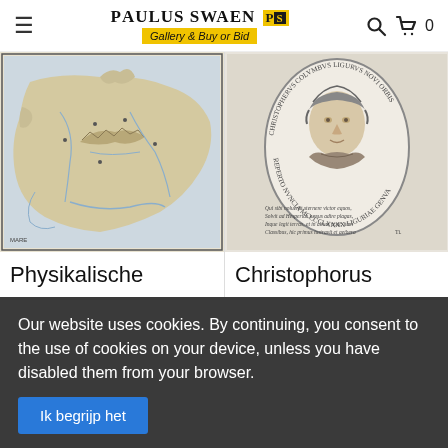Paulus Swaen Gallery & Buy or Bid
[Figure (photo): Antique map of Europa showing physical/topographical features, labeled EUROPA at top left]
Physikalische
$1000 / = €1000
Publisher: KIEPERT, H.
Date: Berlin : Verlag von Dietrich
[Figure (photo): Engraved portrait of Christophorus Columbus in an oval frame with Latin text below]
Christophorus
$200 / = €200
Publisher: PASSE, C.
Date: Antwerp, c.1700
Our website uses cookies. By continuing, you consent to the use of cookies on your device, unless you have disabled them from your browser.
Ik begrijp het